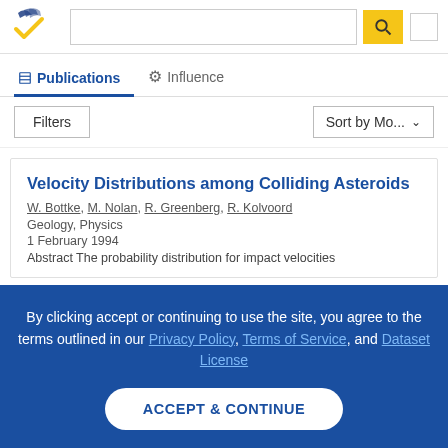[Figure (logo): Semantic Scholar logo - stylized book pages with blue and gold check mark]
Publications | Influence | Filters | Sort by Mo...
Velocity Distributions among Colliding Asteroids
W. Bottke, M. Nolan, R. Greenberg, R. Kolvoord
Geology, Physics
1 February 1994
Abstract The probability distribution for impact velocities
By clicking accept or continuing to use the site, you agree to the terms outlined in our Privacy Policy, Terms of Service, and Dataset License
ACCEPT & CONTINUE